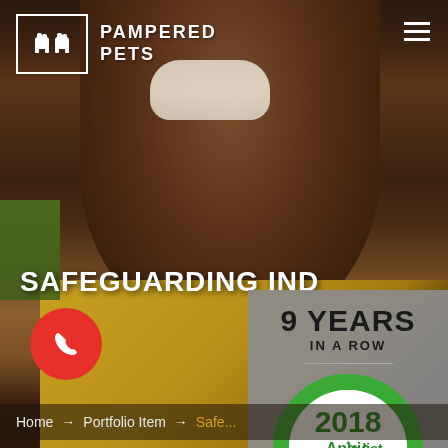[Figure (photo): Close-up photo of a smiling person with dark skin, showing teeth, wearing a yellow/brown halter top, outdoors with greenery in background. Used as hero background image for Pampered Pets website.]
PAMPERED PETS
SAFEGUARDING IND
[Figure (logo): 2018 Angie's List Super Service Award badge — green circular badge with '2018 Angie's List SUPER SERVICE AWARD' text. Displayed on a gray panel with '9 YEARS IN A ROW' text above it.]
9 YEARS IN A ROW
Home → Portfolio Item → Safe...